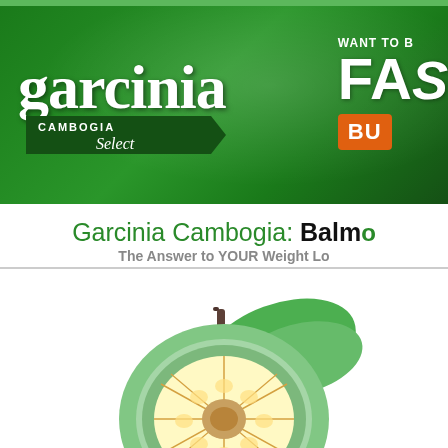[Figure (logo): Garcinia Cambogia Select logo banner with dark green background and 'WANT TO B... FAS... BU...' call-to-action on the right side]
Garcinia Cambogia: Balm... The Answer to YOUR Weight Lo...
[Figure (photo): A sliced garcinia cambogia fruit showing the citrus cross-section with green rind and yellow-white interior, with green leaves in the background]